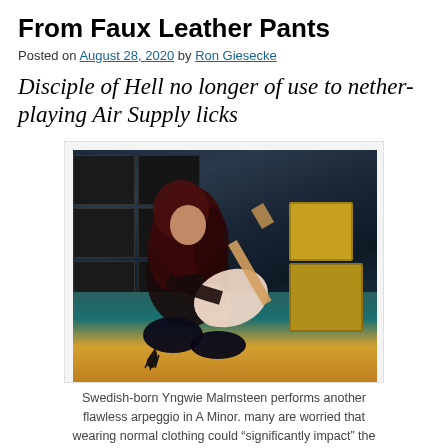From Faux Leather Pants
Posted on August 28, 2020 by Ron Giesecke
Disciple of Hell no longer of use to nether- playing Air Supply licks
[Figure (photo): Guitarist with long curly hair kneeling on stage holding a white electric guitar, with Marshall amp stacks in the background and a yellow amp stack to the right.]
Swedish-born Yngwie Malmsteen performs another flawless arpeggio in A Minor. many are worried that wearing normal clothing could "significantly impact" the